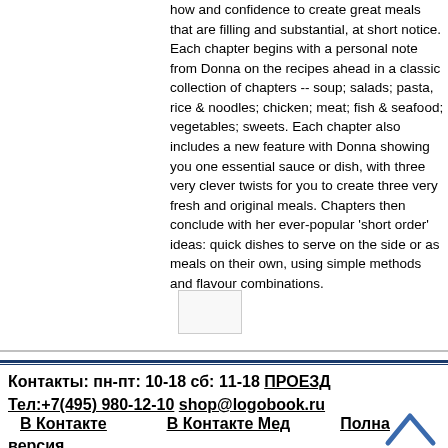how and confidence to create great meals that are filling and substantial, at short notice. Each chapter begins with a personal note from Donna on the recipes ahead in a classic collection of chapters -- soup; salads; pasta, rice & noodles; chicken; meat; fish & seafood; vegetables; sweets. Each chapter also includes a new feature with Donna showing you one essential sauce or dish, with three very clever twists for you to create three very fresh and original meals. Chapters then conclude with her ever-popular 'short order' ideas: quick dishes to serve on the side or as meals on their own, using simple methods and flavour combinations.
[Figure (other): Small image placeholder rectangle]
Контакты: пн-пт: 10-18 сб: 11-18 ПРОЕЗД Тел:+7(495) 980-12-10 shop@logobook.ru
В Контакте   В Контакте Мед   Полная версия